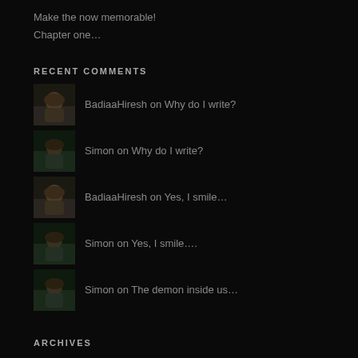Make the now memorable!
Chapter one…
RECENT COMMENTS
BadiaaHiresh on Why do I write?
Simon on Why do I write?
BadiaaHiresh on Yes, I smile…
Simon on Yes, I smile….
Simon on The demon inside us…
ARCHIVES
August 2022
July 2022